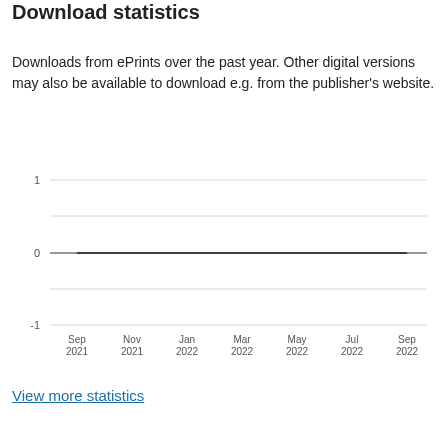Download statistics
Downloads from ePrints over the past year. Other digital versions may also be available to download e.g. from the publisher's website.
[Figure (line-chart): Line chart showing download statistics from Sep 2021 to Sep 2022. The line is flat at 0 throughout. Y-axis shows -1, 0, 1.]
View more statistics